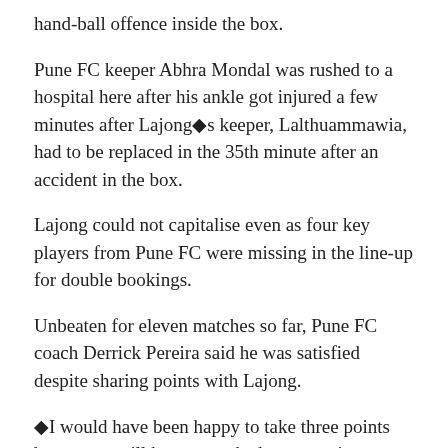hand-ball offence inside the box.
Pune FC keeper Abhra Mondal was rushed to a hospital here after his ankle got injured a few minutes after Lajong◆s keeper, Lalthuammawia, had to be replaced in the 35th minute after an accident in the box.
Lajong could not capitalise even as four key players from Pune FC were missing in the line-up for double bookings.
Unbeaten for eleven matches so far, Pune FC coach Derrick Pereira said he was satisfied despite sharing points with Lajong.
◆I would have been happy to take three points but we are still happy to take home a point on an away match,◆ Pereira said.